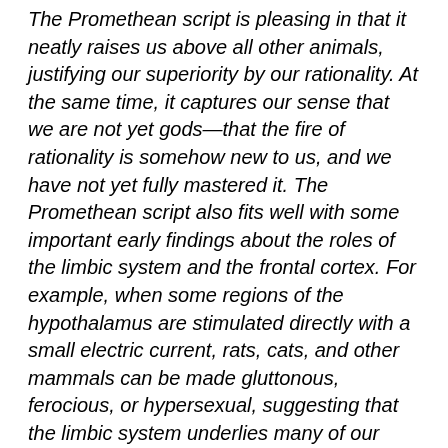The Promethean script is pleasing in that it neatly raises us above all other animals, justifying our superiority by our rationality. At the same time, it captures our sense that we are not yet gods—that the fire of rationality is somehow new to us, and we have not yet fully mastered it. The Promethean script also fits well with some important early findings about the roles of the limbic system and the frontal cortex. For example, when some regions of the hypothalamus are stimulated directly with a small electric current, rats, cats, and other mammals can be made gluttonous, ferocious, or hypersexual, suggesting that the limbic system underlies many of our basic animal instincts. 14 Conversely, when people suffer damage to the frontal cortex, they sometimes show an increase in sexual and aggressive behavior because the frontal cortex plays an important role in suppressing or